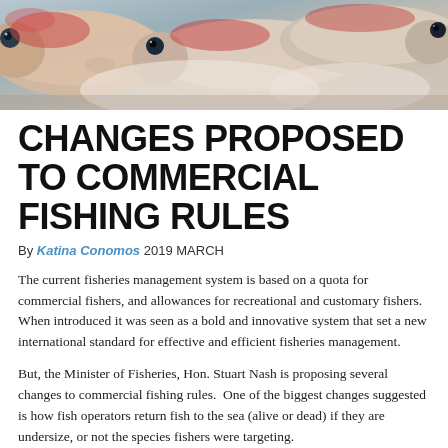[Figure (photo): Close-up photo of multiple fish (snapper/red fish) piled together, showing heads, eyes, and scales in shades of pink, red, white and grey.]
CHANGES PROPOSED TO COMMERCIAL FISHING RULES
By Katina Conomos 2019 MARCH
The current fisheries management system is based on a quota for commercial fishers, and allowances for recreational and customary fishers. When introduced it was seen as a bold and innovative system that set a new international standard for effective and efficient fisheries management.
But, the Minister of Fisheries, Hon. Stuart Nash is proposing several changes to commercial fishing rules.  One of the biggest changes suggested is how fish operators return fish to the sea (alive or dead) if they are undersize, or not the species fishers were targeting.